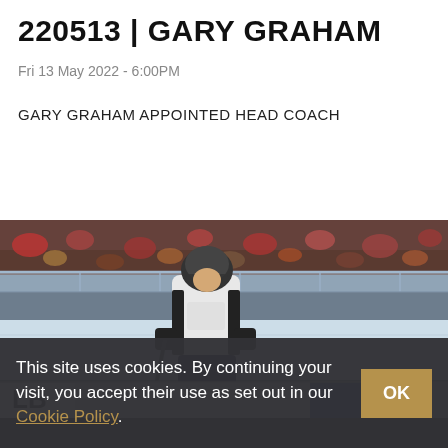220513 | GARY GRAHAM
Fri 13 May 2022 - 6:00PM
GARY GRAHAM APPOINTED HEAD COACH
READ MORE
[Figure (photo): Ice hockey player in white Nottingham Panthers jersey skating on ice rink with crowd in background and rink boards visible]
This site uses cookies. By continuing your visit, you accept their use as set out in our Cookie Policy. OK